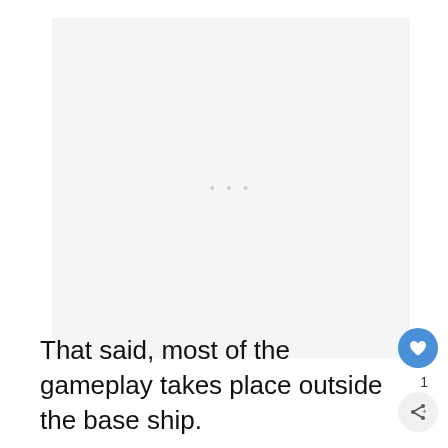[Figure (other): Large light gray advertisement placeholder box with three small dots centered inside]
That said, most of the gameplay takes place outside the base ship.